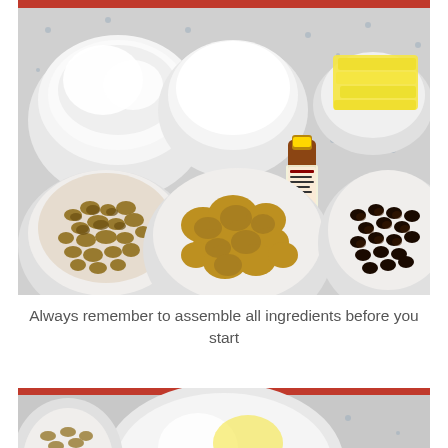[Figure (photo): Overhead view of baking ingredients in bowls on a floral patterned tablecloth: a bowl of flour (top left), a bowl of white sugar (top center), a plate of butter slices (top right), a bottle of vanilla extract (center), a bowl of chopped nuts (bottom left), a bowl of brown sugar (bottom center), and a bowl of chocolate chips (bottom right).]
Always remember to assemble all ingredients before you start
[Figure (photo): Partial view of a mixing bowl on a floral tablecloth with a red trim, showing the beginning of an ingredient being added.]